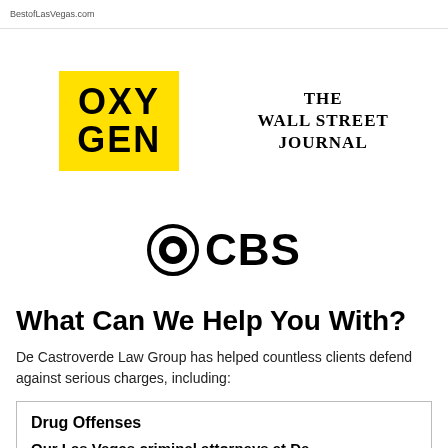BestofLasVegas.com
[Figure (logo): Oxygen network logo — yellow block with bold black text OXY GEN]
[Figure (logo): The Wall Street Journal logo — serif bold text]
[Figure (logo): CBS logo — eye icon with CBS text]
What Can We Help You With?
De Castroverde Law Group has helped countless clients defend against serious charges, including:
Drug Offenses
Our Las Vegas criminal attorneys at De